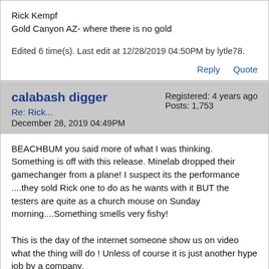Rick Kempf
Gold Canyon AZ- where there is no gold
Edited 6 time(s). Last edit at 12/28/2019 04:50PM by lytle78.
Reply   Quote
calabash digger
Re: Rick...
December 28, 2019 04:49PM
Registered: 4 years ago
Posts: 1,753
BEACHBUM you said more of what I was thinking. Something is off with this release. Minelab dropped their gamechanger from a plane! I suspect its the performance ....they sold Rick one to do as he wants with it BUT the testers are quite as a church mouse on Sunday morning....Something smells very fishy!

This is the day of the internet someone show us on video what the thing will do ! Unless of course it is just another hype job by a company.